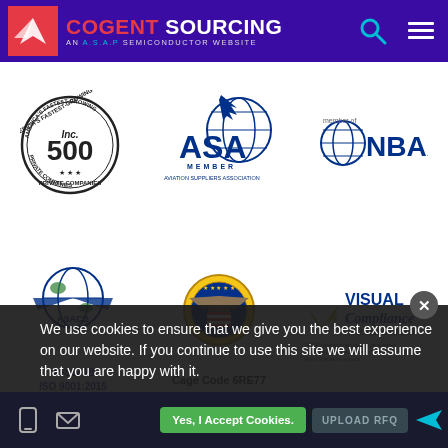COGENT SOURCING — AN A.S.A.P SEMICONDUCTOR WEBSITE
[Figure (logo): Inc. 500 America's Fastest-Growing Private Companies badge]
[Figure (logo): ASA Member — Aviation Suppliers Association logo]
[Figure (logo): NBAA member of logo]
[Figure (logo): ASACB AS9120B ISO 9001:2015 certification badge]
[Figure (logo): Cage Code 6RE77 US government seal]
[Figure (logo): Visual Compliance An eCustoms Solution logo with ASAP Semiconductor endorsement quote]
[Figure (logo): Dun & Bradstreet D-U-N-S Registered badge]
[Figure (logo): FAA AC-00568 Certified Company badge]
[Figure (logo): Business Consumer Alliance Proud Member — Rating: AAA — Check Our Report badge]
We use cookies to ensure that we give you the best experience on our website. If you continue to use this site we will assume that you are happy with it.
Yes, I Accept Cookies.  UPLOAD RFQ